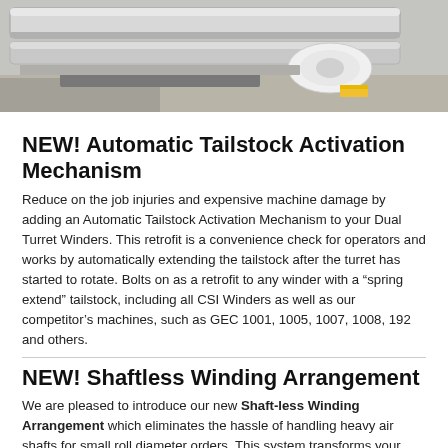[Figure (photo): Photograph of industrial winding machinery showing metal rollers and cylindrical components, with a yellow safety marking visible on the floor.]
NEW! Automatic Tailstock Activation Mechanism
Reduce on the job injuries and expensive machine damage by adding an Automatic Tailstock Activation Mechanism to your Dual Turret Winders. This retrofit is a convenience check for operators and works by automatically extending the tailstock after the turret has started to rotate. Bolts on as a retrofit to any winder with a “spring extend” tailstock, including all CSI Winders as well as our competitor’s machines, such as GEC 1001, 1005, 1007, 1008, 192 and others.
NEW! Shaftless Winding Arrangement
We are pleased to introduce our new Shaft-less Winding Arrangement which eliminates the hassle of handling heavy air shafts for small roll diameter orders. This system transforms your “Phantom Axis” machine into a "shaftless" operation and greatly